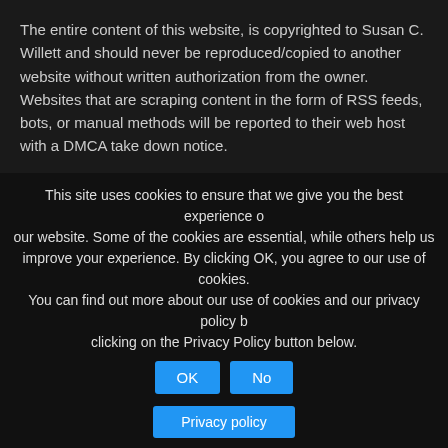The entire content of this website, is copyrighted to Susan C. Willett and should never be reproduced/copied to another website without written authorization from the owner. Websites that are scraping content in the form of RSS feeds, bots, or manual methods will be reported to their web host with a DMCA take down notice.
ARCHIVES
[Figure (other): A dropdown select box labeled 'Select Month']
META
Log in
This site uses cookies to ensure that we give you the best experience on our website. Some of the cookies are essential, while others help us improve your experience. By clicking OK, you agree to our use of cookies. You can find out more about our use of cookies and our privacy policy by clicking on the Privacy Policy button below.